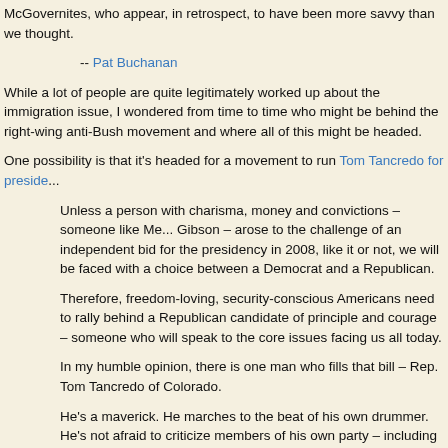McGovernites, who appear, in retrospect, to have been more savvy than we thought.
-- Pat Buchanan
While a lot of people are quite legitimately worked up about the immigration issue, I wondered from time to time who might be behind the right-wing anti-Bush movement and where all of this might be headed.
One possibility is that it's headed for a movement to run Tom Tancredo for president.
Unless a person with charisma, money and convictions – someone like Mel Gibson – arose to the challenge of an independent bid for the presidency in 2008, like it or not, we will be faced with a choice between a Democrat and a Republican.
Therefore, freedom-loving, security-conscious Americans need to rally behind a Republican candidate of principle and courage – someone who will speak to the core issues facing us all today.
In my humble opinion, there is one man who fills that bill – Rep. Tom Tancredo of Colorado.
He's a maverick. He marches to the beat of his own drummer. He's not afraid to criticize members of his own party – including his president. And that's what I love about him.
There is no one else in Congress or in national public life who has provided better leadership on the No. 1 national-security issue confronting the United States – the border and immigration policy.
Number one? I guess that means terrorism has moved to number two and no one told us. How did it happen so fast? Were the demonstrations this Spring the Reconquista's equivalent of the attack on the Twin Towers?